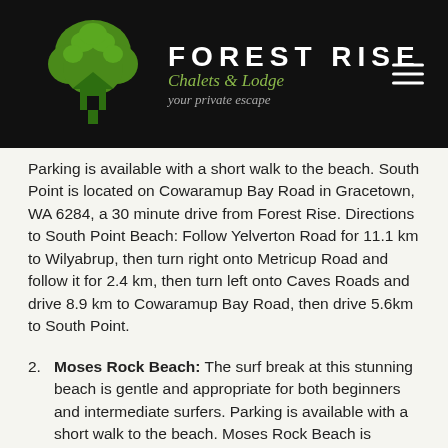[Figure (logo): Forest Rise Chalets & Lodge logo with tree icon on black header background]
Parking is available with a short walk to the beach. South Point is located on Cowaramup Bay Road in Gracetown, WA 6284, a 30 minute drive from Forest Rise. Directions to South Point Beach: Follow Yelverton Road for 11.1 km to Wilyabrup, then turn right onto Metricup Road and follow it for 2.4 km, then turn left onto Caves Roads and drive 8.9 km to Cowaramup Bay Road, then drive 5.6km to South Point.
2. Moses Rock Beach: The surf break at this stunning beach is gentle and appropriate for both beginners and intermediate surfers. Parking is available with a short walk to the beach. Moses Rock Beach is located on Moses Rock Road in Wilyabrup WA 6280, a 16 minute drive from Forest Rise. Directions to Moses Rock Beach: Follow Yelverton Road for 15.3 km to Wilyabrup, and then onto Moses Rock Road.
3. Yallingup Main Break Beach: The surf break at this